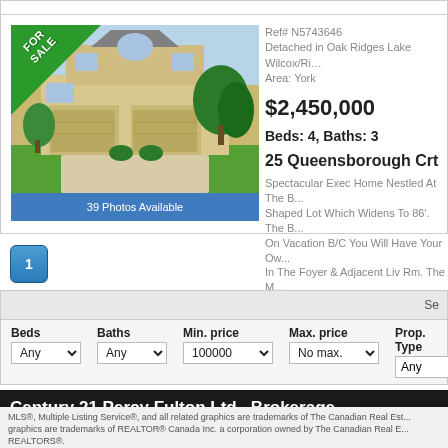[Figure (photo): Detached house photo for 25 Queensborough Crt, with FOR SALE banner in top-left corner and '39 Photos Available' caption in blue bar at bottom]
Ref# N5743646
Detached in Oak Ridges Lake Wilcox/Ri...
Area: York
$2,450,000
Beds: 4, Baths: 3
25 Queensborough Crt
Spectacular Exec Home Nestled At The P... Shaped Lot Which Widens To 86'. The B... On Vacation B/C You Will Have Your Ow... In The Foyer & Adjacent Liv Rm. The M...
1
Se
Beds
Any
Baths
Any
Min. price
100000
Max. price
No max.
Prop. Type
Any
Century 21 Percy Fulton Ltd., Brokerage
Independently Owned and Operated
MLS®, Multiple Listing Service®, and all related graphics are trademarks of The Canadian Real Es... graphics are trademarks of REALTOR® Canada Inc. a corporation owned by The Canadian Real E... REALTORS®.